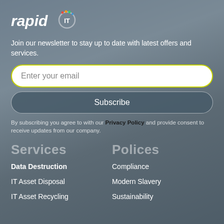[Figure (logo): rapid IT logo with stylized text and circular IT badge icon]
Join our newsletter to stay up to date with latest offers and services.
Enter your email
Subscribe
By subscribing you agree to with our Privacy Policy and provide consent to receive updates from our company.
Services
Polices
Data Destruction
Compliance
IT Asset Disposal
Modern Slavery
IT Asset Recycling
Sustainability